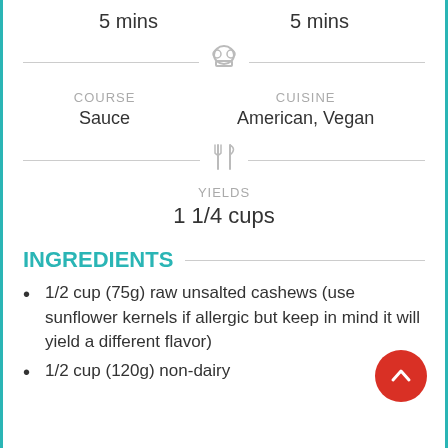5 mins    5 mins
COURSE
Sauce
CUISINE
American, Vegan
YIELDS
1 1/4 cups
INGREDIENTS
1/2 cup (75g) raw unsalted cashews (use sunflower kernels if allergic but keep in mind it will yield a different flavor)
1/2 cup (120g) non-dairy